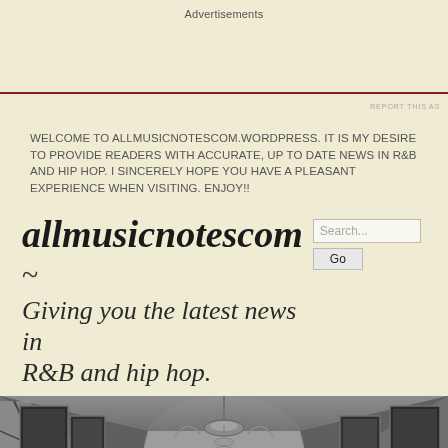Advertisements
REPORT THIS AS
WELCOME TO ALLMUSICNOTESCOM.WORDPRESS. IT IS MY DESIRE TO PROVIDE READERS WITH ACCURATE, UP TO DATE NEWS IN R&B AND HIP HOP. I SINCERELY HOPE YOU HAVE A PLEASANT EXPERIENCE WHEN VISITING. ENJOY!!
allmusicnotescom ~
Giving you the latest news in R&B and hip hop.
[Figure (photo): Grayscale/HDR photo of an ornate palace hallway or gallery corridor with arched ceilings, chandeliers, tall windows on the left, and paintings on the walls, viewed in perspective.]